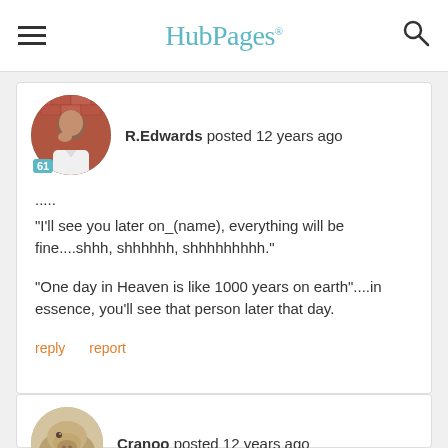HubPages
R.Edwards posted 12 years ago
.....
"I'll see you later on_(name), everything will be fine....shhh, shhhhhh, shhhhhhhhh."

"One day in Heaven is like 1000 years on earth"....in essence, you'll see that person later that day.
reply   report
Cranoo posted 12 years ago